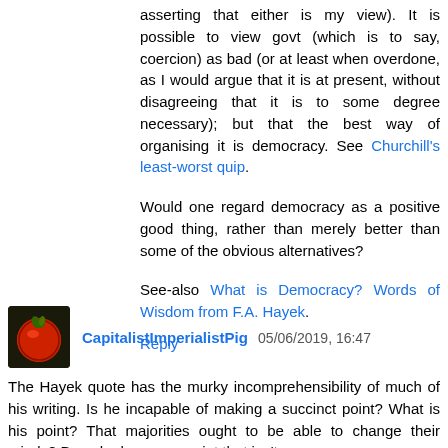asserting that either is my view). It is possible to view govt (which is to say, coercion) as bad (or at least when overdone, as I would argue that it is at present, without disagreeing that it is to some degree necessary); but that the best way of organising it is democracy. See Churchill's least-worst quip.
Would one regard democracy as a positive good thing, rather than merely better than some of the obvious alternatives?
See-also What is Democracy? Words of Wisdom from F.A. Hayek.
Reply
CapitalistImperialistPig 05/06/2019, 16:47
The Hayek quote has the murky incomprehensibility of much of his writing. Is he incapable of making a succinct point? What is his point? That majorities ought to be able to change their minds? Does he have any point that isn't hopelessly banal?